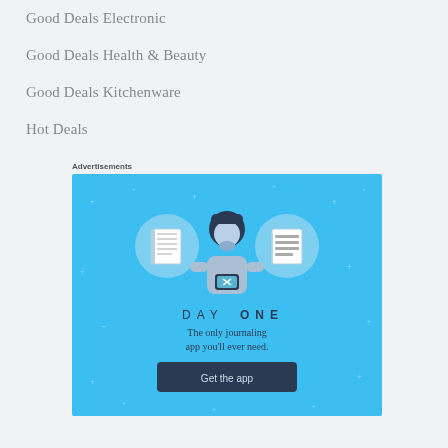Good Deals Electronic
Good Deals Health & Beauty
Good Deals Kitchenware
Hot Deals
Advertisements
[Figure (illustration): Day One journaling app advertisement on blue background. Shows a cartoon person holding a phone flanked by two circular icons (notebook and list). Text reads 'DAY ONE', 'The only journaling app you'll ever need.' with a 'Get the app' button.]